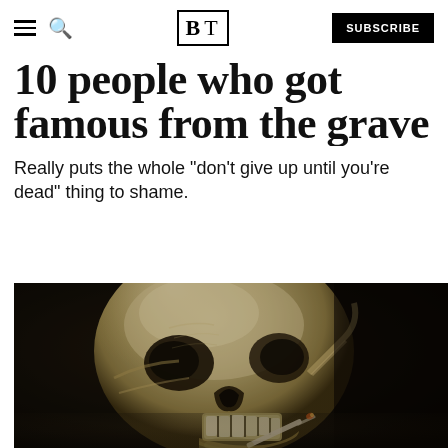BT — SUBSCRIBE
10 people who got famous from the grave
Really puts the whole "don't give up until you're dead" thing to shame.
[Figure (photo): A dark painting of a human skull with a cigarette or burning object in its mouth, rendered in sepia/dark tones, appears to be Van Gogh's 'Head of a Skeleton with a Burning Cigarette'.]